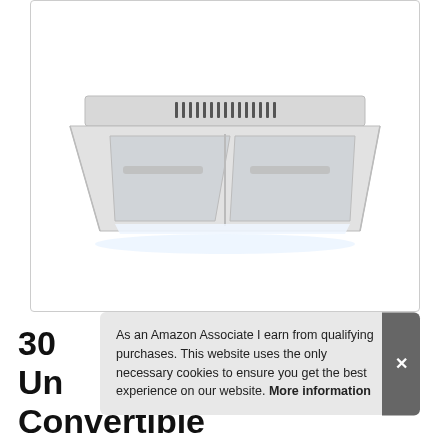[Figure (photo): Stainless steel under-cabinet range hood ventilation fan with mesh filters and control buttons on top, shown from a front-angle view against a white background.]
30 Under Cabinet Range Hood, Convertible Duct, Slim Kitchen Stove
As an Amazon Associate I earn from qualifying purchases. This website uses the only necessary cookies to ensure you get the best experience on our website. More information